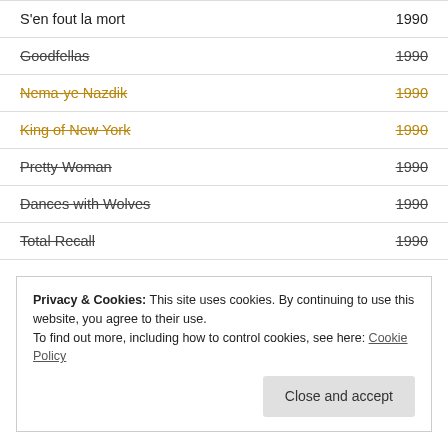S'en fout la mort — 1990
Goodfellas — 1990
Nema-ye Nazdik — 1990
King of New York — 1990
Pretty Woman — 1990
Dances with Wolves — 1990
Total Recall — 1990
Privacy & Cookies: This site uses cookies. By continuing to use this website, you agree to their use. To find out more, including how to control cookies, see here: Cookie Policy
Close and accept